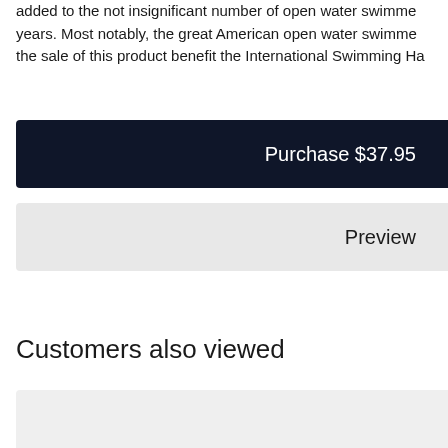added to the not insignificant number of open water swimmers years. Most notably, the great American open water swimmer the sale of this product benefit the International Swimming Ha
Purchase $37.95
Preview
Customers also viewed